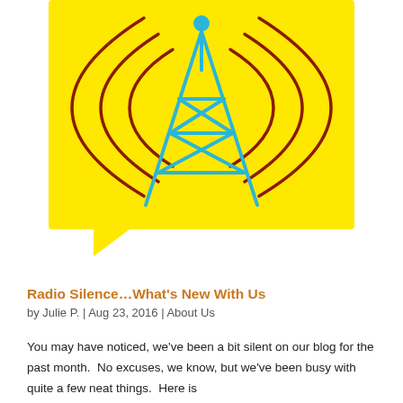[Figure (illustration): Yellow speech bubble / square shape with a cyan radio tower in the center and dark red radio wave arcs on both sides. The tower has a ball on top, triangular structure, and crossed braces.]
Radio Silence…What's New With Us
by Julie P. | Aug 23, 2016 | About Us
You may have noticed, we've been a bit silent on our blog for the past month.  No excuses, we know, but we've been busy with quite a few neat things.  Here is